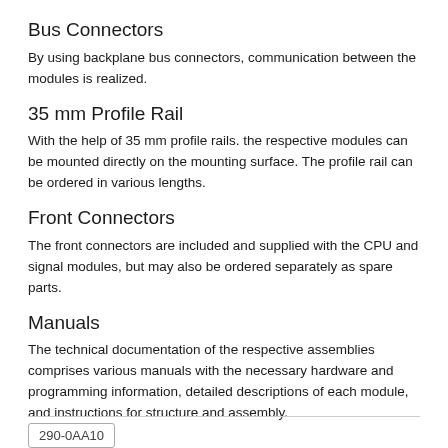Bus Connectors
By using backplane bus connectors, communication between the modules is realized.
35 mm Profile Rail
With the help of 35 mm profile rails. the respective modules can be mounted directly on the mounting surface. The profile rail can be ordered in various lengths.
Front Connectors
The front connectors are included and supplied with the CPU and signal modules, but may also be ordered separately as spare parts.
Manuals
The technical documentation of the respective assemblies comprises various manuals with the necessary hardware and programming information, detailed descriptions of each module, and instructions for structure and assembly.
290-0AA10